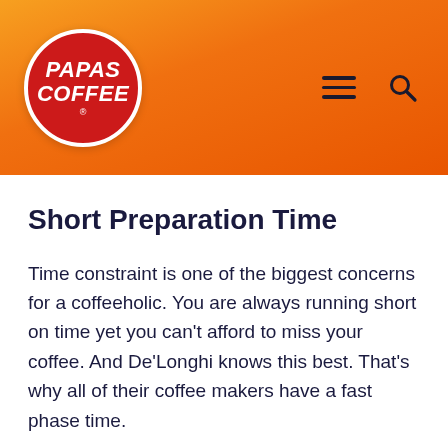[Figure (logo): Papas Coffee logo in red circle on orange gradient header background, with hamburger menu and search icons]
Short Preparation Time
Time constraint is one of the biggest concerns for a coffeeholic. You are always running short on time yet you can't afford to miss your coffee. And De'Longhi knows this best. That's why all of their coffee makers have a fast phase time.
Their quick heating system almost instantly hea water and milk for your coffee. Once you have added your coffee grounds, water, and milk, you'll be less than